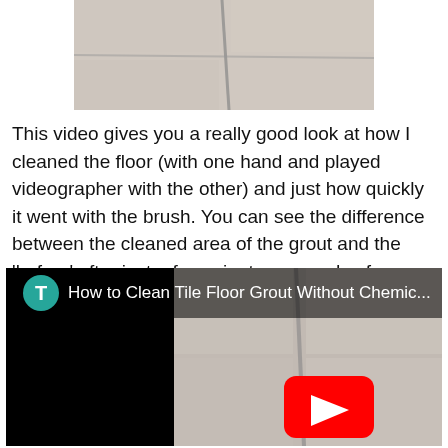[Figure (photo): Partial view of a tile floor showing grout lines, cropped at the top of the page]
This video gives you a really good look at how I cleaned the floor (with one hand and played videographer with the other) and just how quickly it went with the brush. You can see the difference between the cleaned area of the grout and the 'before' after just a few minutes seconds of scrubbing.
[Figure (screenshot): YouTube video thumbnail showing 'How to Clean Tile Floor Grout Without Chemic...' with a teal circle T icon, black left panel, and tile floor image with YouTube play button overlay]